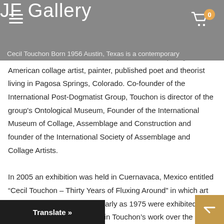JF Gallery
Cecil Touchon Born 1956 Austin, Texas is a contemporary American collage artist, painter, published poet and theorist living in Pagosa Springs, Colorado. Co-founder of the International Post-Dogmatist Group, Touchon is director of the group's Ontological Museum, Founder of the International Museum of Collage, Assemblage and Construction and founder of the International Society of Assemblage and Collage Artists.
In 2005 an exhibition was held in Cuernavaca, Mexico entitled “Cecil Touchon – Thirty Years of Fluxing Around” in which art works and scores dating as early as 1975 were exhibited showing the fluxus tendency in Touchon’s work over the last thirty years. Touchon has never been formally affiliated with the Fluxus group until the year 2000 when he became a member. The distance as well as several months th...